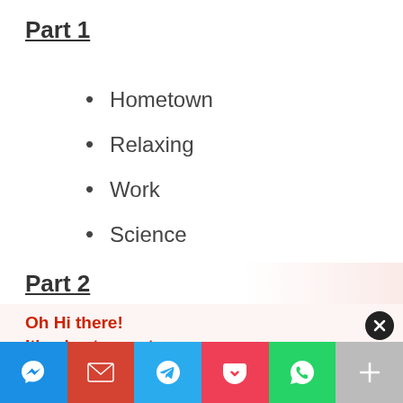Part 1
Hometown
Relaxing
Work
Science
Part 2
Oh Hi there!
It's nice to meet you.
Sign up to receive awesome content in your inbox, every week.
[Figure (infographic): Share bar with icons: Messenger (blue), Gmail (red), Telegram (light blue), Pocket (pink-red), WhatsApp (green), More (gray)]